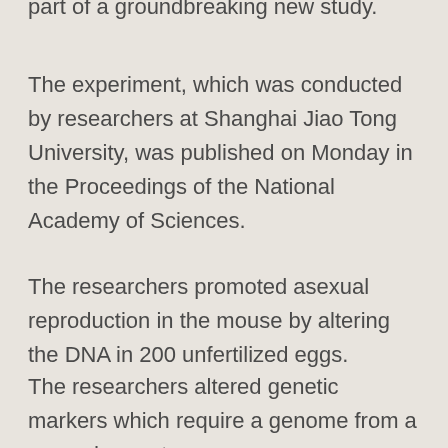part of a groundbreaking new study.
The experiment, which was conducted by researchers at Shanghai Jiao Tong University, was published on Monday in the Proceedings of the National Academy of Sciences.
The researchers promoted asexual reproduction in the mouse by altering the DNA in 200 unfertilized eggs.
The researchers altered genetic markers which require a genome from a second parent.
The process bypassed the requirements of a